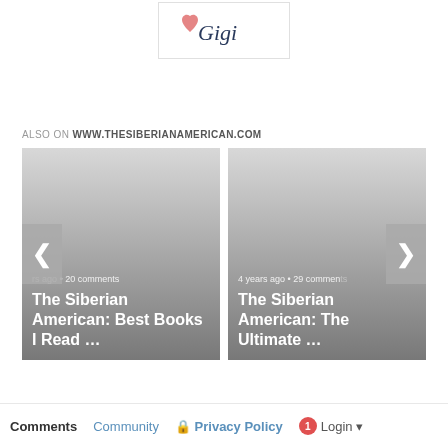[Figure (logo): Partial logo image showing script text 'Gigi' with a heart icon, white background with border]
ALSO ON WWW.THESIBERIANAMERICAN.COM
[Figure (screenshot): Card carousel showing two article cards: Left card: '... years ago • 20 comments' / 'The Siberian American: Best Books I Read ...'; Right card: '4 years ago • 29 comments' / 'The Siberian American: The Ultimate ...' with left and right navigation arrows]
Comments  Community  Privacy Policy  1  Login